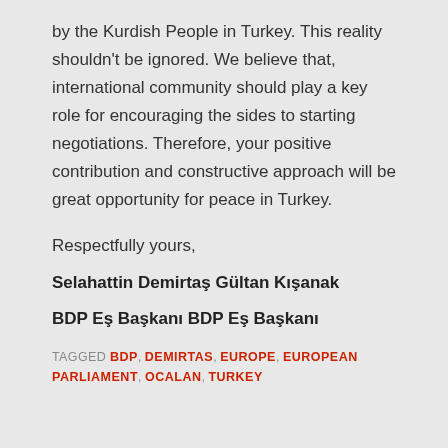by the Kurdish People in Turkey. This reality shouldn't be ignored. We believe that, international community should play a key role for encouraging the sides to starting negotiations. Therefore, your positive contribution and constructive approach will be great opportunity for peace in Turkey.
Respectfully yours,
Selahattin Demirtaş Gültan Kışanak
BDP Eş Başkanı BDP Eş Başkanı
TAGGED BDP, DEMIRTAS, EUROPE, EUROPEAN PARLIAMENT, OCALAN, TURKEY